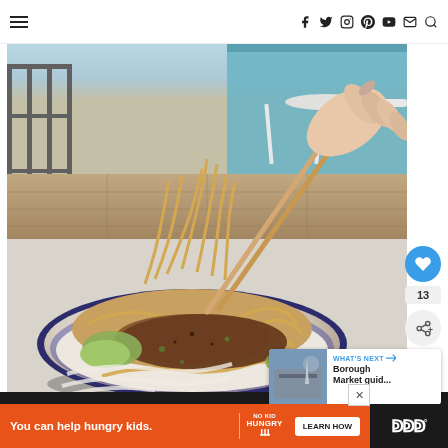Navigation bar with hamburger menu and social icons: facebook, twitter, instagram, pinterest, youtube, mail, search
[Figure (photo): Overhead photo of a bowl of noodles (dan dan noodles) being lifted with chopsticks by a hand, with minced meat sauce and bok choy, set on a table at an outdoor patio with teal furniture in the background. Includes heart/like button (13 saves) and share button overlaid on the right.]
[Figure (screenshot): WHAT'S NEXT card overlay showing a thumbnail of Borough Market with text 'Borough Market guid...']
[Figure (infographic): Orange advertisement banner: 'You can help hungry kids.' with No Kid Hungry logo and 'LEARN HOW' button]